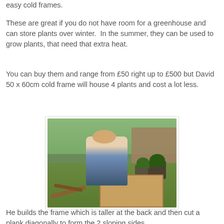easy cold frames.
These are great if you do not have room for a greenhouse and can store plants over winter.  In the summer, they can be used to grow plants, that need that extra heat.
You can buy them and range from £50 right up to £500 but David 50 x 60cm cold frame will house 4 plants and cost a lot less.
[Figure (photo): A man standing in a garden holding up a wooden plank, with a wooden cold frame box in the foreground, garden plants and fence in the background.]
He builds the frame which is taller at the back and then cut a plank diagonally to form the 2 sloping sides.